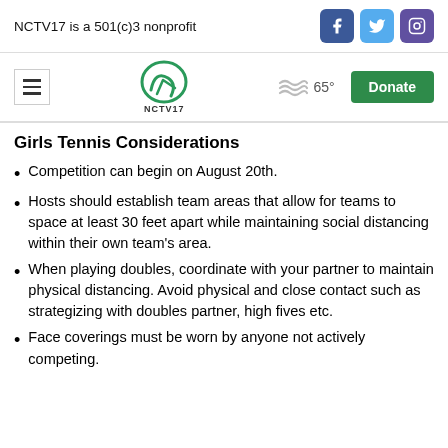NCTV17 is a 501(c)3 nonprofit
Girls Tennis Considerations
Competition can begin on August 20th.
Hosts should establish team areas that allow for teams to space at least 30 feet apart while maintaining social distancing within their own team's area.
When playing doubles, coordinate with your partner to maintain physical distancing. Avoid physical and close contact such as strategizing with doubles partner, high fives etc.
Face coverings must be worn by anyone not actively competing.